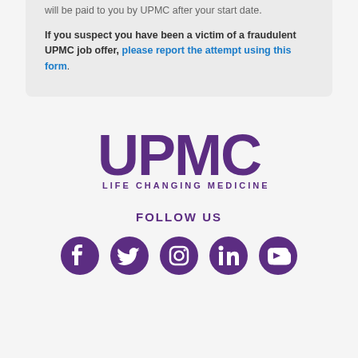will be paid to you by UPMC after your start date.
If you suspect you have been a victim of a fraudulent UPMC job offer, please report the attempt using this form.
[Figure (logo): UPMC logo with 'LIFE CHANGING MEDICINE' tagline in purple]
FOLLOW US
[Figure (infographic): Social media icons: Facebook, Twitter, Instagram, LinkedIn, YouTube — all in purple circles]